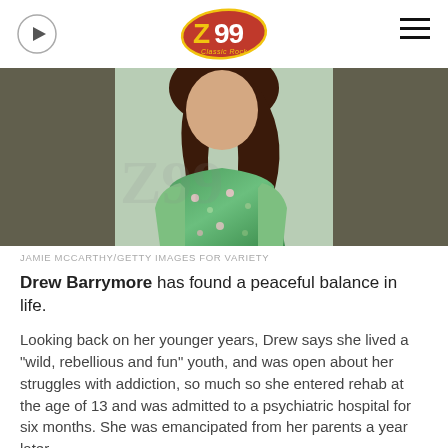Z99 Classic Rock
[Figure (photo): Drew Barrymore in a green floral dress, photo credit Jamie McCarthy/Getty Images for Variety]
JAMIE MCCARTHY/GETTY IMAGES FOR VARIETY
Drew Barrymore has found a peaceful balance in life.
Looking back on her younger years, Drew says she lived a “wild, rebellious and fun” youth, and was open about her struggles with addiction, so much so she entered rehab at the age of 13 and was admitted to a psychiatric hospital for six months. She was emancipated from her parents a year later.
Despite the troubles she faced, the actress has found a sense of tranquility in life that she knows her